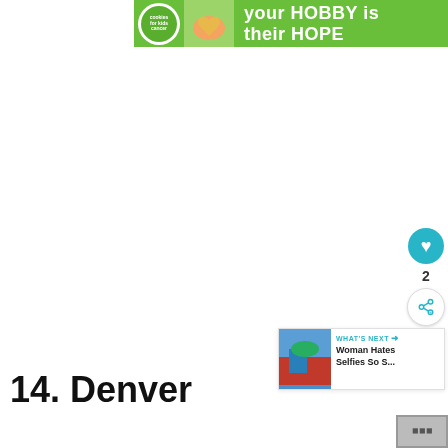[Figure (other): Advertisement banner: green background with cookies for kids cancer logo and text 'your HOBBY is their HOPE']
[Figure (other): Floating sidebar with a teal heart button showing count 2, and a share button]
[Figure (other): WHAT'S NEXT panel with thumbnail image and text 'Woman Hates Selfies So S...']
14. Denver
[Figure (other): Advertisement banner: 'Learn the signs to prevent school shootings.' Sandy Hook Promise logo]